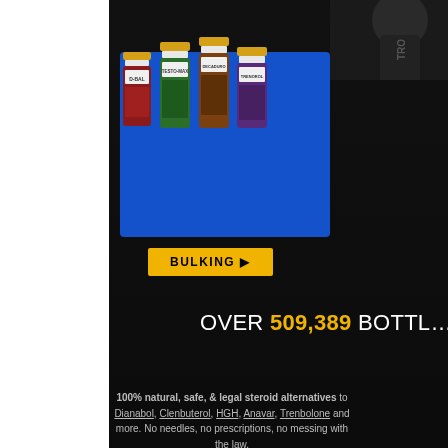[Figure (infographic): Dark-background supplement advertisement showing two product clusters (Bulking and Cutting) with supplement bottles, yellow CTA buttons, and feature icons below.]
BULKING ▶
CUTTING ▶
OVER 509,389 BOTTL…
100% natural, safe, & legal steroid alternatives to Dianabol, Clenbuterol, HGH, Anavar, Trenbolone and more. No needles, no prescriptions, no messing with the law.
Transform your body in as little as 3… with highly potent, hardcore anabolic bodybuilding supplements for bulk… cutting, strength and performanc…
FAST
RESULTS
100% NATURAL
INGREDIENTS
100% SAFE
& LEGAL
NO
SIDE EFFE…